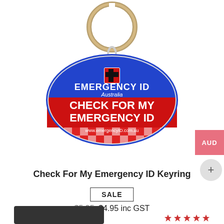[Figure (photo): Product photo of an oval blue and red keyring tag labeled 'EMERGENCY ID Australia - CHECK FOR MY EMERGENCY ID' with a metal key ring, on a white background]
Check For My Emergency ID Keyring
SALE
$5.95 $4.95 inc GST